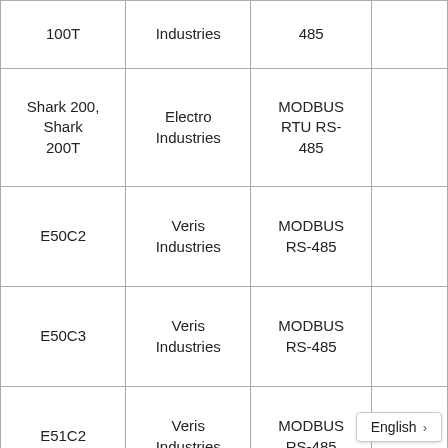| 100T | Industries | 485 |  |
| Shark 200, Shark 200T | Electro Industries | MODBUS RTU RS-485 |  |
| E50C2 | Veris Industries | MODBUS RS-485 |  |
| E50C3 | Veris Industries | MODBUS RS-485 |  |
| E51C2 | Veris Industries | MODBUS RS-485 |  |
|  |  |  |  |